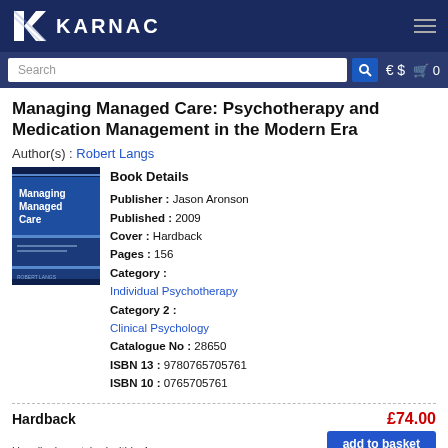KARNAC
Managing Managed Care: Psychotherapy and Medication Management in the Modern Era
Author(s) : Robert Langs
[Figure (photo): Book cover for Managing Managed Care: Psychotherapy and Medication Management in the Modern Era by Robert Langs, blue cover]
Book Details
Publisher : Jason Aronson
Published : 2009
Cover : Hardback
Pages : 156
Category : Individual Psychotherapy
Category 2 : Clinical Psychology
Catalogue No : 28650
ISBN 13 : 9780765705761
ISBN 10 : 0765705761
Hardback   £74.00
Usually despatched within 4-